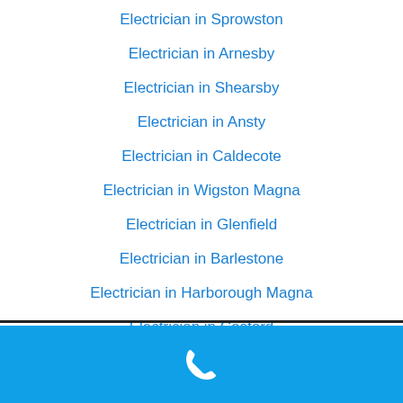Electrician in Sprowston
Electrician in Arnesby
Electrician in Shearsby
Electrician in Ansty
Electrician in Caldecote
Electrician in Wigston Magna
Electrician in Glenfield
Electrician in Barlestone
Electrician in Harborough Magna
Electrician in Cosford
[Figure (other): Blue footer bar with white phone/call icon]